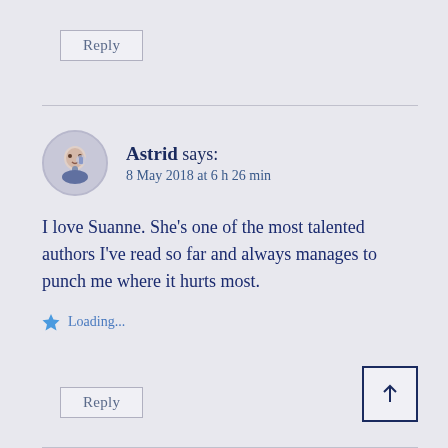Reply
Astrid says:
8 May 2018 at 6 h 26 min
I love Suanne. She’s one of the most talented authors I’ve read so far and always manages to punch me where it hurts most.
Loading...
Reply